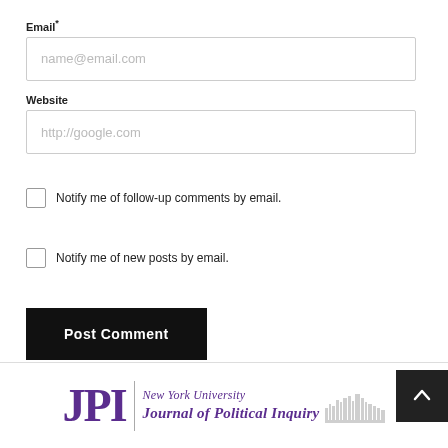Email*
name@email.com
Website
http://google.com
Notify me of follow-up comments by email.
Notify me of new posts by email.
Post Comment
[Figure (logo): NYU Journal of Political Inquiry logo with IPI letters in purple and skyline silhouette]
[Figure (other): Scroll to top button with upward arrow icon on dark background]